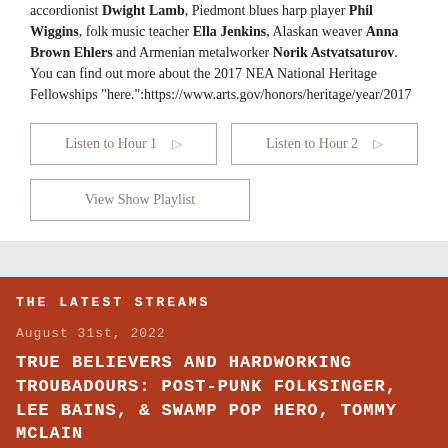accordionist Dwight Lamb, Piedmont blues harp player Phil Wiggins, folk music teacher Ella Jenkins, Alaskan weaver Anna Brown Ehlers and Armenian metalworker Norik Astvatsaturov. You can find out more about the 2017 NEA National Heritage Fellowships "here.":https://www.arts.gov/honors/heritage/year/2017
Listen to Hour 1 | Listen to Hour 2
View Show Playlist
THE LATEST STREAMS
August 31st, 2022
TRUE BELIEVERS AND HARDWORKING TROUBADOURS: POST-PUNK FOLKSINGER, LEE BAINS, & SWAMP POP HERO, TOMMY MCLAIN
Listen